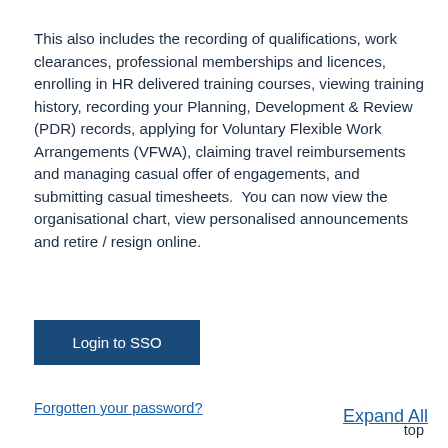This also includes the recording of qualifications, work clearances, professional memberships and licences, enrolling in HR delivered training courses, viewing training history, recording your Planning, Development & Review (PDR) records, applying for Voluntary Flexible Work Arrangements (VFWA), claiming travel reimbursements and managing casual offer of engagements, and submitting casual timesheets. You can now view the organisational chart, view personalised announcements and retire / resign online.
Login to SSO
Forgotten your password?
top
Expand All